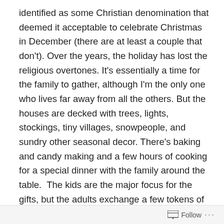identified as some Christian denomination that deemed it acceptable to celebrate Christmas in December (there are at least a couple that don't). Over the years, the holiday has lost the religious overtones. It's essentially a time for the family to gather, although I'm the only one who lives far away from all the others. But the houses are decked with trees, lights, stockings, tiny villages, snowpeople, and sundry other seasonal decor. There's baking and candy making and a few hours of cooking for a special dinner with the family around the table.  The kids are the major focus for the gifts, but the adults exchange a few tokens of affection too.
Christmas 2013 was a very different holiday.
My dad has a new partner. They started dating just about
Follow